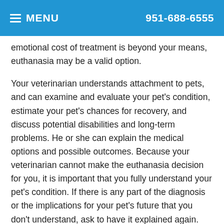MENU  951-688-6555
emotional cost of treatment is beyond your means, euthanasia may be a valid option.
Your veterinarian understands attachment to pets, and can examine and evaluate your pet's condition, estimate your pet's chances for recovery, and discuss potential disabilities and long-term problems. He or she can explain the medical options and possible outcomes. Because your veterinarian cannot make the euthanasia decision for you, it is important that you fully understand your pet's condition. If there is any part of the diagnosis or the implications for your pet's future that you don't understand, ask to have it explained again. Rarely will the situation require an immediate decision.